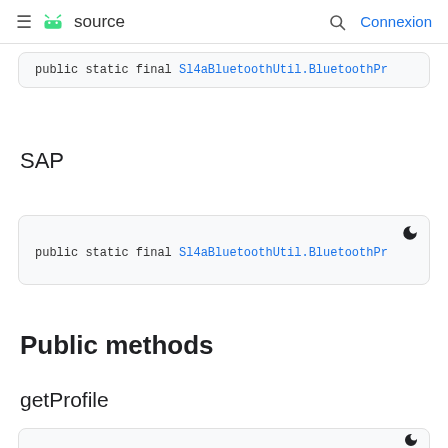≡  source   🔍   Connexion
public static final Sl4aBluetoothUtil.BluetoothPr
SAP
public static final Sl4aBluetoothUtil.BluetoothPr
Public methods
getProfile